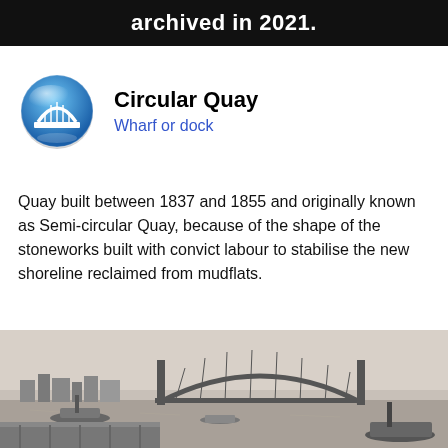archived in 2021.
Circular Quay
Wharf or dock
Quay built between 1837 and 1855 and originally known as Semi-circular Quay, because of the shape of the stoneworks built with convict labour to stabilise the new shoreline reclaimed from mudflats.
[Figure (photo): Historical black and white photograph of Circular Quay with Sydney Harbour Bridge in the background, ships and boats in the harbour, and wharfs in the foreground.]